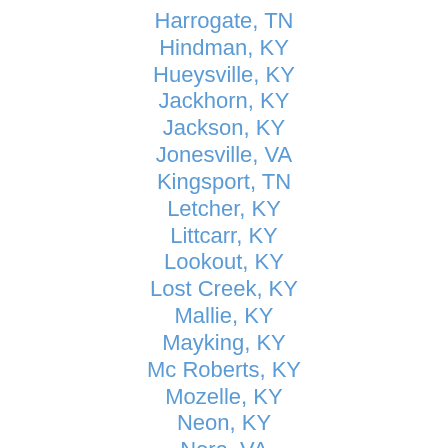Harrogate, TN
Hindman, KY
Hueysville, KY
Jackhorn, KY
Jackson, KY
Jonesville, VA
Kingsport, TN
Letcher, KY
Littcarr, KY
Lookout, KY
Lost Creek, KY
Mallie, KY
Mayking, KY
Mc Roberts, KY
Mozelle, KY
Neon, KY
Nora, VA
Pine Top, KY
Pineville, KY
Printer, KY
Pruden, TN
Rose Hill, VA